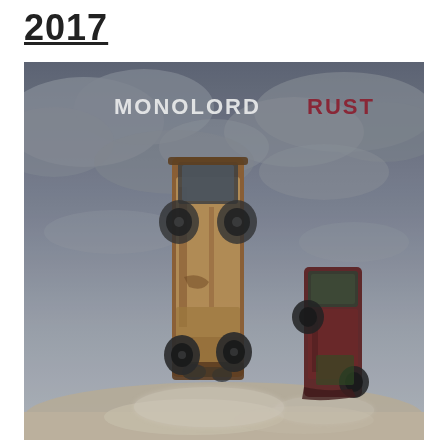2017
[Figure (photo): Album cover for Monolord - Rust (2017). Dark cloudy sky background with two rusted, wrecked vintage vehicles (vans/trucks) standing vertically on their noses on sandy/rocky ground. Text 'MONOLORD' in white and 'RUST' in dark red/maroon appears in the upper portion of the image.]